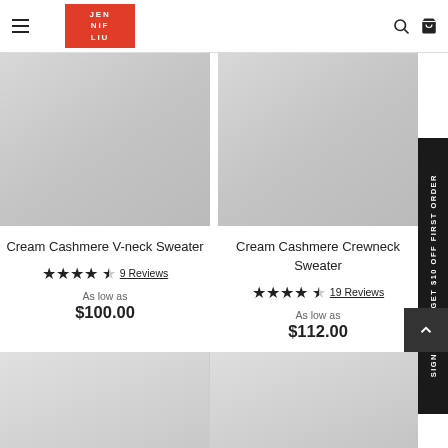[Figure (logo): Jennifer Liu brand logo — red rectangle with white text JEN NIF LIU stacked]
Cream Cashmere V-neck Sweater
★★★★½  9 Reviews
As low as
$100.00
Cream Cashmere Crewneck Sweater
★★★★½  19 Reviews
As low as
$112.00
SIGN UP AND GET $10 OFF FIRST ORDER